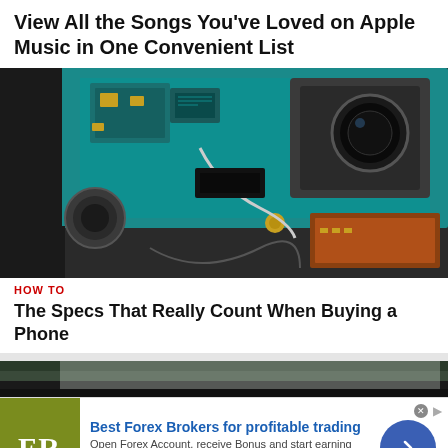View All the Songs You've Loved on Apple Music in One Convenient List
[Figure (photo): Close-up photograph of a disassembled smartphone showing the internal circuit board with teal PCB, camera module, speaker, and copper flex cables]
HOW TO
The Specs That Really Count When Buying a Phone
[Figure (photo): Partial view of another article image at bottom of page]
[Figure (other): Advertisement banner: Best Forex Brokers for profitable trading. FR logo in olive/green square. Open Forex Account, receive Bonus and start earning Now. forex-ratings.com]